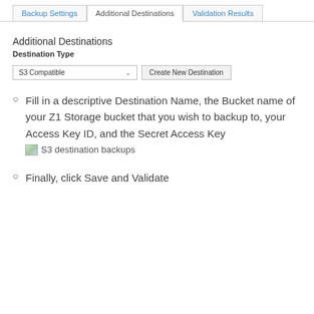[Figure (screenshot): Tab navigation bar with three tabs: 'Backup Settings', 'Additional Destinations' (active), and 'Validation Results']
Additional Destinations
Destination Type
[Figure (screenshot): A dropdown selector showing 'S3 Compatible' with a chevron, and a button labeled 'Create New Destination']
Fill in a descriptive Destination Name, the Bucket name of your Z1 Storage bucket that you wish to backup to, your Access Key ID, and the Secret Access Key
[Figure (screenshot): S3 destination backups image placeholder]
Finally, click Save and Validate